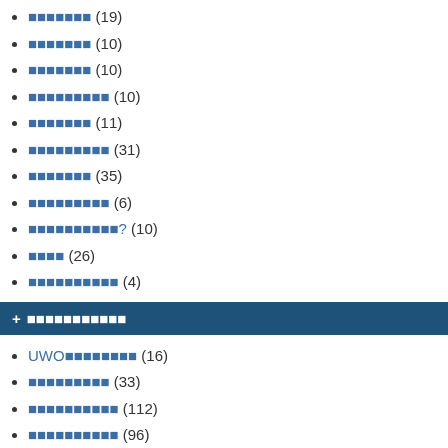▪▪▪▪▪▪▪ (19)
▪▪▪▪▪▪▪ (10)
▪▪▪▪▪▪▪ (10)
▪▪▪▪▪▪▪▪▪ (10)
▪▪▪▪▪▪▪ (11)
▪▪▪▪▪▪▪▪▪ (31)
▪▪▪▪▪▪▪ (35)
▪▪▪▪▪▪▪▪▪ (6)
▪▪▪▪▪▪▪▪▪▪? (10)
▪▪▪▪ (26)
▪▪▪▪▪▪▪▪▪▪ (4)
+ ▪▪▪▪▪▪▪▪▪▪▪
UWO▪▪▪▪▪▪▪▪ (16)
▪▪▪▪▪▪▪▪▪ (33)
▪▪▪▪▪▪▪▪▪▪ (112)
▪▪▪▪▪▪▪▪▪▪ (96)
▪▪▪▪▪▪ (14)